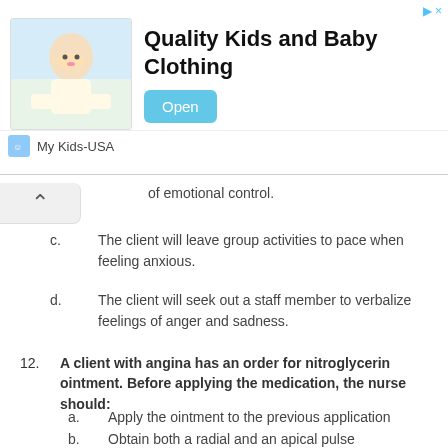[Figure (infographic): Advertisement banner for My Kids-USA showing Quality Kids and Baby Clothing with a baby photo and Open button]
of emotional control.
c.  The client will leave group activities to pace when feeling anxious.
d.  The client will seek out a staff member to verbalize feelings of anger and sadness.
12.  A client with angina has an order for nitroglycerin ointment. Before applying the medication, the nurse should:
a.  Apply the ointment to the previous application
b.  Obtain both a radial and an apical pulse
c.  Remove the previously applied ointment